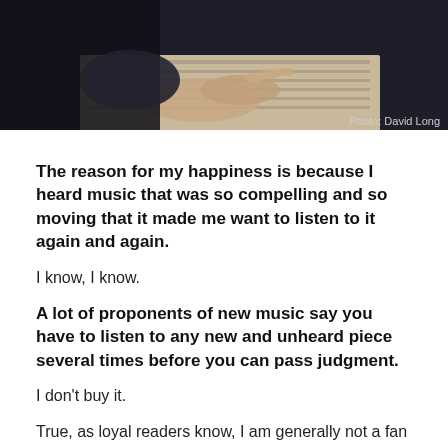[Figure (photo): Black and white photo of hands, possibly playing piano or holding sheet music. Photo credit: David Long.]
Photo: David Long
The reason for my happiness is because I heard music that was so compelling and so moving that it made me want to listen to it again and again.
I know, I know.
A lot of proponents of new music say you have to listen to any new and unheard piece several times before you can pass judgment.
I don't buy it.
True, as loyal readers know, I am generally not a fan of new music. I find too much of it unenjoyable and forgettable. It just doesn't speak to me, for whatever